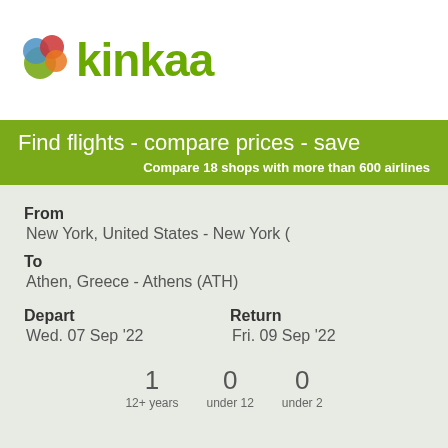[Figure (logo): Kinkaa logo with colorful overlapping circles (green, blue, red, orange) above the green text 'kinkaa']
Find flights - compare prices - save
Compare 18 shops with more than 600 airlines
From
New York, United States - New York (
To
Athen, Greece - Athens (ATH)
Depart
Return
Wed. 07 Sep '22
Fri. 09 Sep '22
1   0   0
12+ years   under 12   under 2